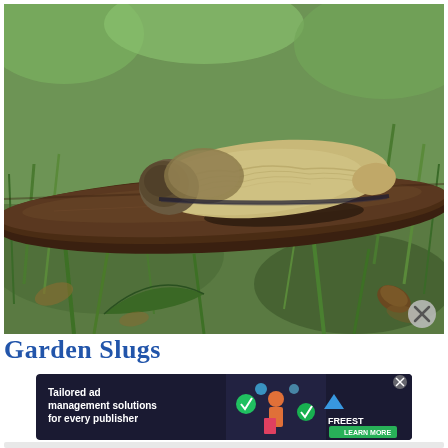[Figure (photo): Close-up photograph of a garden slug crawling on a dark brown stick/branch, surrounded by green grass and leaf litter on the forest floor. The slug has a tan/beige body with a darker head area.]
Garden Slugs
[Figure (screenshot): Advertisement banner for Freestar: 'Tailored ad management solutions for every publisher' with LEARN MORE button, dark background with colorful illustrated graphics and icons.]